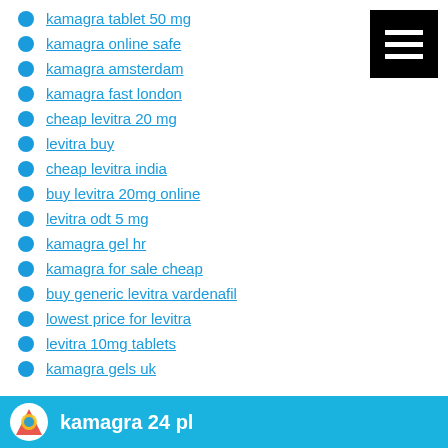kamagra tablet 50 mg
kamagra online safe
kamagra amsterdam
kamagra fast london
cheap levitra 20 mg
levitra buy
cheap levitra india
buy levitra 20mg online
levitra odt 5 mg
kamagra gel hr
kamagra for sale cheap
buy generic levitra vardenafil
lowest price for levitra
levitra 10mg tablets
kamagra gels uk
kamagra 24 pl